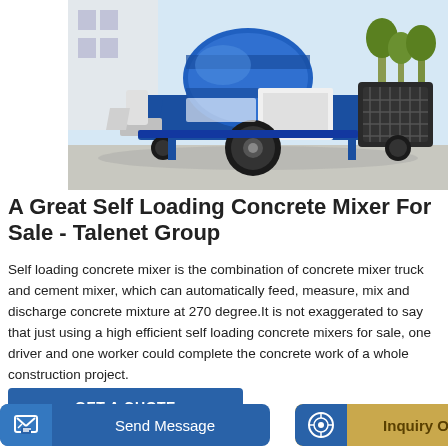[Figure (photo): Photo of a blue and white self-loading concrete mixer machine on a paved surface, with a building and trees visible in the background.]
A Great Self Loading Concrete Mixer For Sale - Talenet Group
Self loading concrete mixer is the combination of concrete mixer truck and cement mixer, which can automatically feed, measure, mix and discharge concrete mixture at 270 degree.It is not exaggerated to say that just using a high efficient self loading concrete mixers for sale, one driver and one worker could complete the concrete work of a whole construction project.
GET A QUOTE
Send Message
Inquiry Online